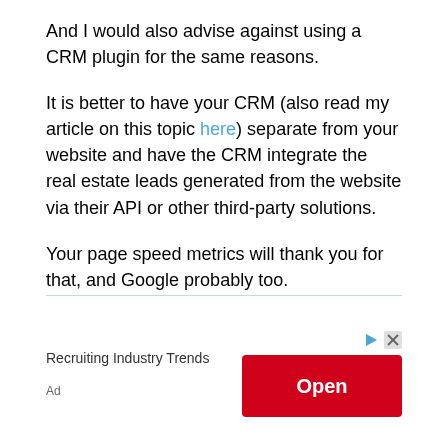And I would also advise against using a CRM plugin for the same reasons.
It is better to have your CRM (also read my article on this topic here) separate from your website and have the CRM integrate the real estate leads generated from the website via their API or other third-party solutions.
Your page speed metrics will thank you for that, and Google probably too.
[Figure (other): Advertisement banner with 'Recruiting Industry Trends' text and red Open button with ad controls]